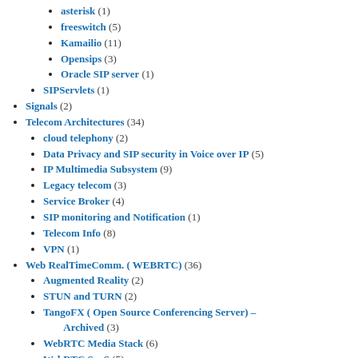asterisk (1)
freeswitch (5)
Kamailio (11)
Opensips (3)
Oracle SIP server (1)
SIPServlets (1)
Signals (2)
Telecom Architectures (34)
cloud telephony (2)
Data Privacy and SIP security in Voice over IP (5)
IP Multimedia Subsystem (9)
Legacy telecom (3)
Service Broker (4)
SIP monitoring and Notification (1)
Telecom Info (8)
VPN (1)
Web RealTimeComm. ( WEBRTC) (36)
Augmented Reality (2)
STUN and TURN (2)
TangoFX ( Open Source Conferencing Server) – Archived (3)
WebRTC Media Stack (6)
WebRTC SaaS (5)
WebRTC security (2)
WebRTC standards (10)